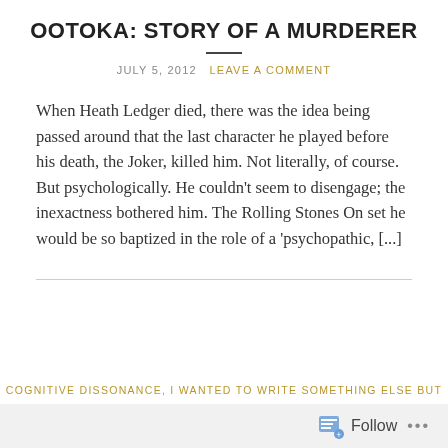OOTOKA: STORY OF A MURDERER
JULY 5, 2012  LEAVE A COMMENT
When Heath Ledger died, there was the idea being passed around that the last character he played before his death, the Joker, killed him. Not literally, of course. But psychologically. He couldn't seem to disengage; the inexactness bothered him. The Rolling Stones On set he would be so baptized in the role of a 'psychopathic, [...]
COGNITIVE DISSONANCE, I WANTED TO WRITE SOMETHING ELSE BUT
Follow ...